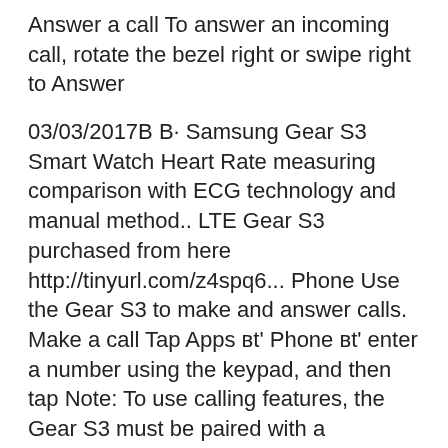Answer a call To answer an incoming call, rotate the bezel right or swipe right to Answer
03/03/2017В В· Samsung Gear S3 Smart Watch Heart Rate measuring comparison with ECG technology and manual method.. LTE Gear S3 purchased from here http://tinyurl.com/z4spq6... Phone Use the Gear S3 to make and answer calls. Make a call Tap Apps вt' Phone вt' enter a number using the keypad, and then tap Note: To use calling features, the Gear S3 must be paired with a smartphone and connected using Bluetooth. Page 19 Answer a call To